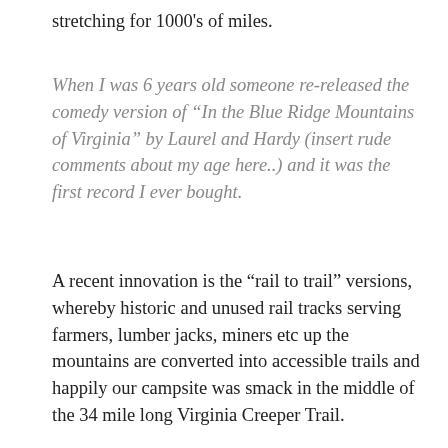stretching for 1000's of miles.
When I was 6 years old someone re-released the comedy version of “In the Blue Ridge Mountains of Virginia” by Laurel and Hardy (insert rude comments about my age here..) and it was the first record I ever bought.
A recent innovation is the “rail to trail” versions, whereby historic and unused rail tracks serving farmers, lumber jacks, miners etc up the mountains are converted into accessible trails and happily our campsite was smack in the middle of the 34 mile long Virginia Creeper Trail.